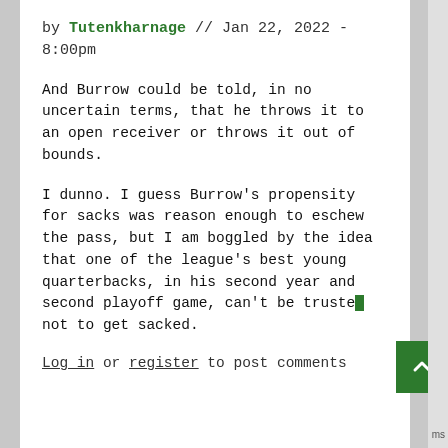by Tutenkharnage // Jan 22, 2022 - 8:00pm
And Burrow could be told, in no uncertain terms, that he throws it to an open receiver or throws it out of bounds.
I dunno. I guess Burrow's propensity for sacks was reason enough to eschew the pass, but I am boggled by the idea that one of the league's best young quarterbacks, in his second year and second playoff game, can't be trusted not to get sacked.
Log in or register to post comments